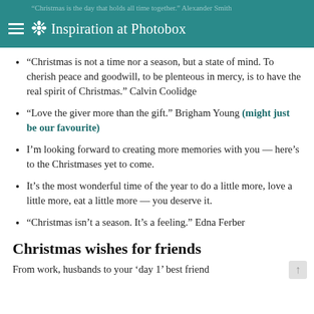Inspiration at Photobox
“Christmas is not a time nor a season, but a state of mind. To cherish peace and goodwill, to be plenteous in mercy, is to have the real spirit of Christmas.” Calvin Coolidge
“Love the giver more than the gift.” Brigham Young (might just be our favourite)
I’m looking forward to creating more memories with you — here’s to the Christmases yet to come.
It’s the most wonderful time of the year to do a little more, love a little more, eat a little more — you deserve it.
“Christmas isn’t a season. It’s a feeling.” Edna Ferber
Christmas wishes for friends
From work, husbands to your ‘day 1’ best friend